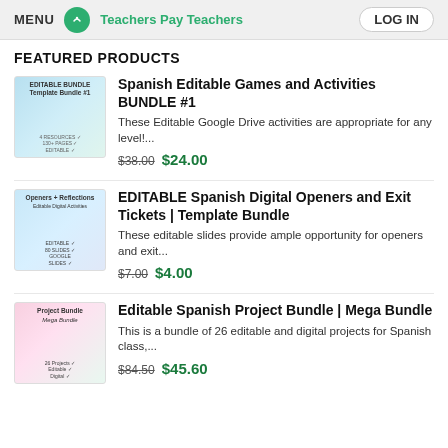MENU  Teachers Pay Teachers  LOG IN
FEATURED PRODUCTS
[Figure (photo): Product thumbnail for Spanish Editable Games and Activities BUNDLE #1 - shows colorful editable bundle cards]
Spanish Editable Games and Activities BUNDLE #1
These Editable Google Drive activities are appropriate for any level!...
$38.00 $24.00
[Figure (photo): Product thumbnail for EDITABLE Spanish Digital Openers and Exit Tickets - shows digital activity slides]
EDITABLE Spanish Digital Openers and Exit Tickets | Template Bundle
These editable slides provide ample opportunity for openers and exit...
$7.00 $4.00
[Figure (photo): Product thumbnail for Editable Spanish Project Bundle Mega Bundle - shows project bundle covers]
Editable Spanish Project Bundle | Mega Bundle
This is a bundle of 26 editable and digital projects for Spanish class,...
$84.50 $45.60